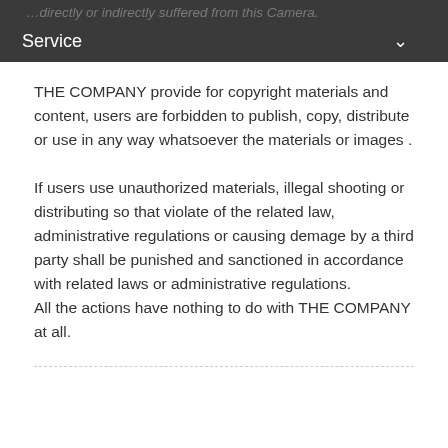Service
THE COMPANY provide for copyright materials and content, users are forbidden to publish, copy, distribute or use in any way whatsoever the materials or images .
If users use unauthorized materials, illegal shooting or distributing so that violate of the related law, administrative regulations or causing demage by a third party shall be punished and sanctioned in accordance with related laws or administrative regulations.
All the actions have nothing to do with THE COMPANY at all.